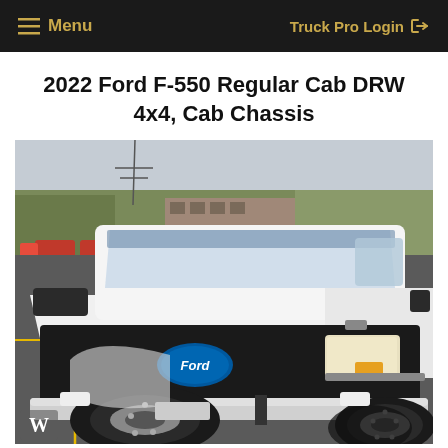Menu    Truck Pro Login
2022 Ford F-550 Regular Cab DRW 4x4, Cab Chassis
[Figure (photo): Front three-quarter view of a white 2022 Ford F-550 Regular Cab DRW 4x4 Cab Chassis truck in a parking lot with trees in background. Watermark 'W' in lower left corner.]